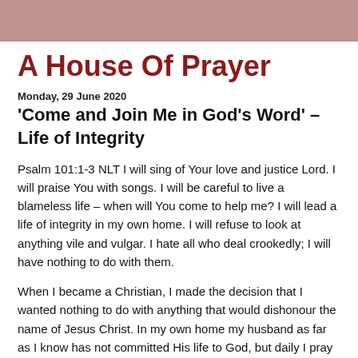A House Of Prayer
Monday, 29 June 2020
‘Come and Join Me in God’s Word’ – Life of Integrity
Psalm 101:1-3 NLT I will sing of Your love and justice Lord. I will praise You with songs. I will be careful to live a blameless life – when will You come to help me? I will lead a life of integrity in my own home. I will refuse to look at anything vile and vulgar. I hate all who deal crookedly; I will have nothing to do with them.
When I became a Christian, I made the decision that I wanted nothing to do with anything that would dishonour the name of Jesus Christ. In my own home my husband as far as I know has not committed His life to God, but daily I pray for him and my whole household.  The Holy Spirit of God,